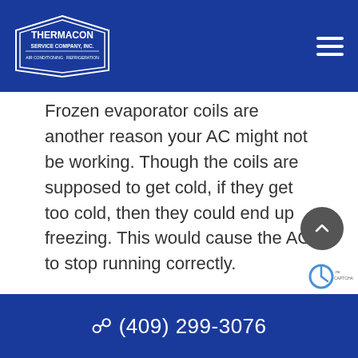Thermacon Service Company, Inc. — Air Conditioning · Refrigeration
Frozen evaporator coils are another reason your AC might not be working. Though the coils are supposed to get cold, if they get too cold, then they could end up freezing. This would cause the AC to stop running correctly.

Once you notice a frozen AC coil, make sure to contact us as soon as possible. The longer this problem goes unaddressed, the more likely it is for your
(409) 299-3076